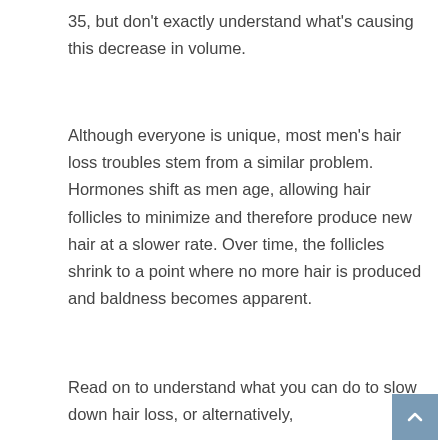35, but don't exactly understand what's causing this decrease in volume.
Although everyone is unique, most men's hair loss troubles stem from a similar problem. Hormones shift as men age, allowing hair follicles to minimize and therefore produce new hair at a slower rate. Over time, the follicles shrink to a point where no more hair is produced and baldness becomes apparent.
Read on to understand what you can do to slow down hair loss, or alternatively,